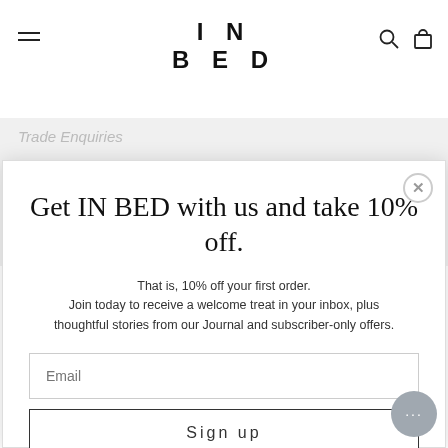IN BED
Wholesale Application
Careers
Stockists
Get IN BED with us and take 10% off.
That is, 10% off your first order. Join today to receive a welcome treat in your inbox, plus thoughtful stories from our Journal and subscriber-only offers.